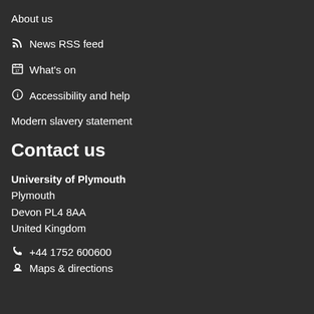About us
News RSS feed
What's on
Accessibility and help
Modern slavery statement
Contact us
University of Plymouth
Plymouth
Devon PL4 8AA
United Kingdom
+44 1752 600600
Maps & directions